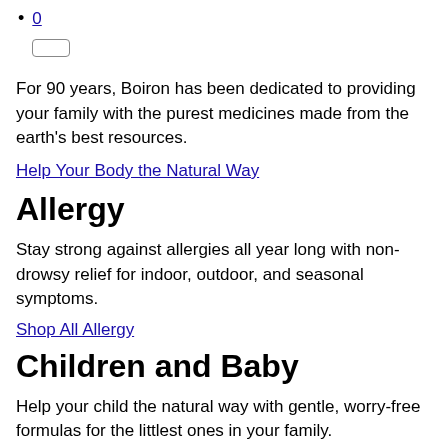0
For 90 years, Boiron has been dedicated to providing your family with the purest medicines made from the earth's best resources.
Help Your Body the Natural Way
Allergy
Stay strong against allergies all year long with non-drowsy relief for indoor, outdoor, and seasonal symptoms.
Shop All Allergy
Children and Baby
Help your child the natural way with gentle, worry-free formulas for the littlest ones in your family.
1857 Philadelphia Mint Copper-Nickel Flying Eagle Cent